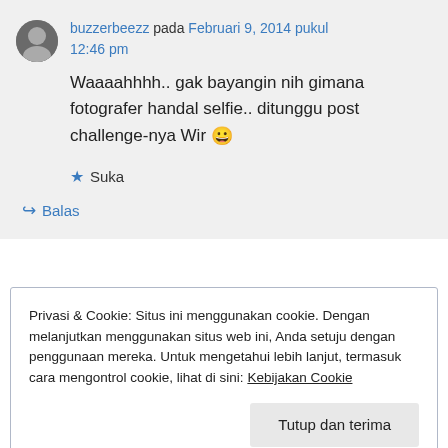buzzerbeezz pada Februari 9, 2014 pukul 12:46 pm
Waaaahhhh.. gak bayangin nih gimana fotografer handal selfie.. ditunggu post challenge-nya Wir 😀
★ Suka
↪ Balas
Privasi & Cookie: Situs ini menggunakan cookie. Dengan melanjutkan menggunakan situs web ini, Anda setuju dengan penggunaan mereka. Untuk mengetahui lebih lanjut, termasuk cara mengontrol cookie, lihat di sini: Kebijakan Cookie
Tutup dan terima